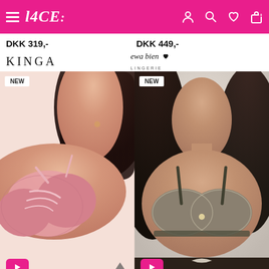LACE: (navigation header with hamburger menu, logo, and icons)
DKK 319,-
DKK 449,-
[Figure (logo): KINGA brand logo in serif font]
[Figure (logo): ewa bien LINGERIE brand logo with heart symbol]
[Figure (photo): Pink lace bra on model, side view, with NEW badge and play button]
[Figure (photo): Grey/black patterned bra on model, front view, with NEW badge and play button]